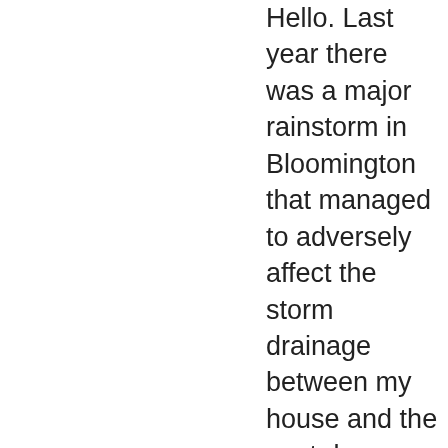Hello. Last year there was a major rainstorm in Bloomington that managed to adversely affect the storm drainage between my house and the next door neighbor. The storm activity managed to wash out a small corner of soil on the other side of the fence. Now any time